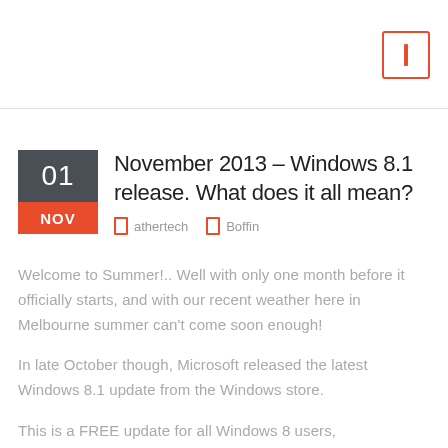Navigation icon
November 2013 – Windows 8.1 release. What does it all mean?
athertech   Boffin
Welcome to Summer!.. Well with only one month before it officially starts, and with our recent weather here in Melbourne summer can't come soon enough!
In late October though, Microsoft released the latest Windows 8.1 update from the Windows store.
This is a FREE update for all Windows 8 users,